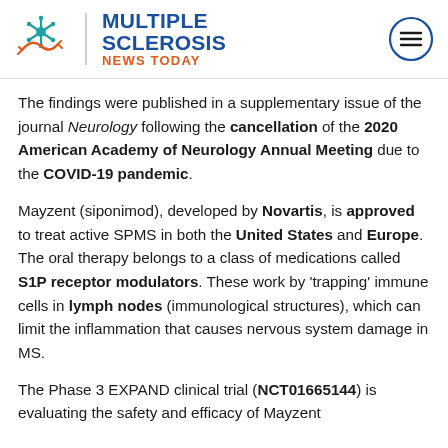Multiple Sclerosis News Today
The findings were published in a supplementary issue of the journal Neurology following the cancellation of the 2020 American Academy of Neurology Annual Meeting due to the COVID-19 pandemic.
Mayzent (siponimod), developed by Novartis, is approved to treat active SPMS in both the United States and Europe. The oral therapy belongs to a class of medications called S1P receptor modulators. These work by 'trapping' immune cells in lymph nodes (immunological structures), which can limit the inflammation that causes nervous system damage in MS.
The Phase 3 EXPAND clinical trial (NCT01665144) is evaluating the safety and efficacy of Mayzent